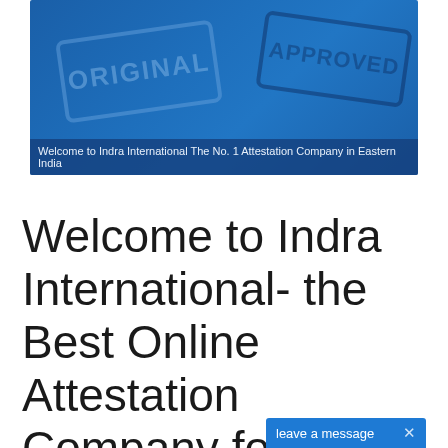[Figure (illustration): Banner image with blue background showing stamp graphics labeled 'ORIGINAL' and 'APPROVED', with a dark blue caption bar at the bottom reading 'Welcome to Indra International The No. 1 Attestation Company in Eastern India']
Welcome to Indra International The No. 1 Attestation Company in Eastern India
Welcome to Indra International- the Best Online Attestation Company for Eastern India